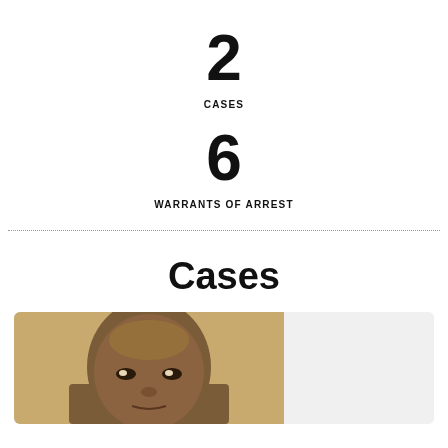2
CASES
6
WARRANTS OF ARREST
Cases
[Figure (photo): Headshot photograph of a man against a tan/beige background, shown from chest up, with a shaved head, looking directly at camera.]